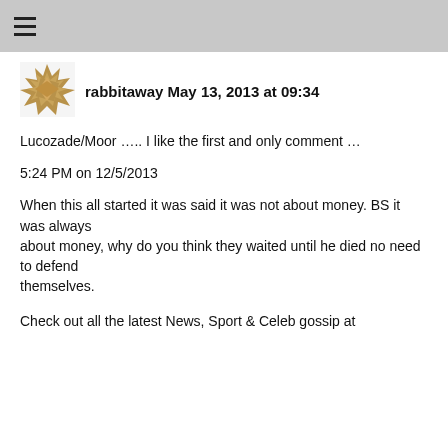≡
[Figure (illustration): Decorative geometric avatar icon with tan/gold triangular shapes forming a starburst pattern]
rabbitaway May 13, 2013 at 09:34
Lucozade/Moor ….. I like the first and only comment …
5:24 PM on 12/5/2013
When this all started it was said it was not about money. BS it was always about money, why do you think they waited until he died no need to defend themselves.
Check out all the latest News, Sport & Celeb gossip at